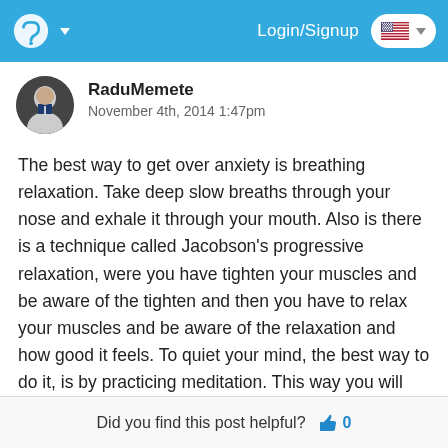Login/Signup
RaduMemete
November 4th, 2014 1:47pm
The best way to get over anxiety is breathing relaxation. Take deep slow breaths through your nose and exhale it through your mouth. Also is there is a technique called Jacobson's progressive relaxation, were you have tighten your muscles and be aware of the tighten and then you have to relax your muscles and be aware of the relaxation and how good it feels. To quiet your mind, the best way to do it, is by practicing meditation. This way you will get into control of your thoughts.
Did you find this post helpful?  0